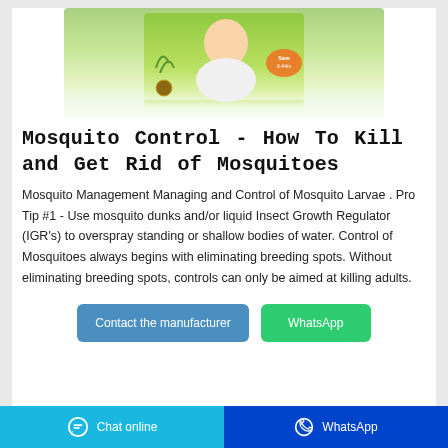[Figure (photo): Product photo of a baby care / mosquito repellent product box with a green gradient background and a baby on the packaging]
Mosquito Control - How To Kill and Get Rid of Mosquitoes
Mosquito Management Managing and Control of Mosquito Larvae . Pro Tip #1 - Use mosquito dunks and/or liquid Insect Growth Regulator (IGR's) to overspray standing or shallow bodies of water. Control of Mosquitoes always begins with eliminating breeding spots. Without eliminating breeding spots, controls can only be aimed at killing adults.
Contact the manufacturer
WhatsApp
Chat online   WhatsApp